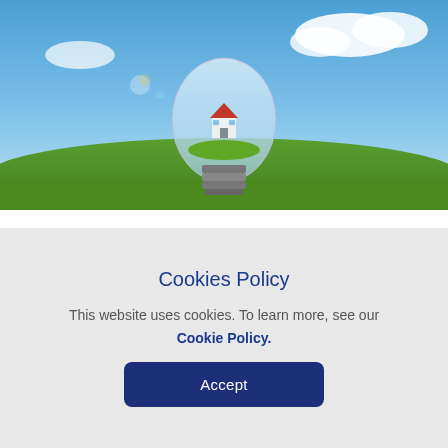[Figure (photo): A conceptual photo showing a miniature house placed inside a glowing light bulb, set against a green grass field and blue sky with clouds.]
7 SUSTAINABLE HOME IMPROVEMENT IDEAS FOR MANDELA DAY
15 July 2022
Cookies Policy
This website uses cookies. To learn more, see our Cookie Policy.